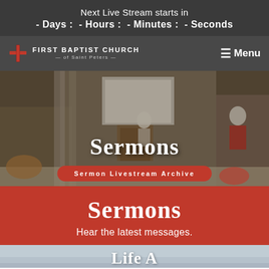Next Live Stream starts in
- Days : - Hours : - Minutes : - Seconds
[Figure (screenshot): First Baptist Church of Saint Peters navigation bar with red cross logo and Menu button]
[Figure (photo): Church interior showing sanctuary with pulpit, projection screen, and person standing. Overlaid text 'Sermons' and button 'Sermon Livestream Archive']
Sermons
Hear the latest messages.
[Figure (photo): Partial view of outdoor/landscape photo, bottom of page, with partial white text visible]